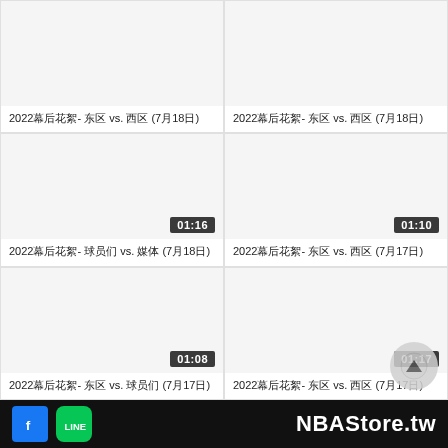2022幕后花絮- 东区 vs. 西区 (7月18日)
2022幕后花絮- 东区 vs. 西区 (7月18日)
2022幕后花絮- 球员们 vs. 媒体 (7月18日)
2022幕后花絮- 东区 vs. 西区 (7月17日)
2022幕后花絮- 东区 vs. 球员们 (7月17日)
2022幕后花絮- 东区 vs. 西区 (7月17日)
NBAStore.tw